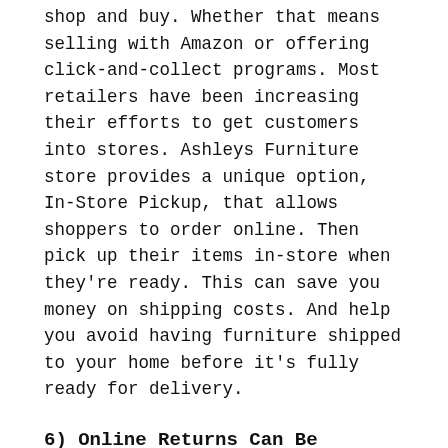shop and buy. Whether that means selling with Amazon or offering click-and-collect programs. Most retailers have been increasing their efforts to get customers into stores. Ashleys Furniture store provides a unique option, In-Store Pickup, that allows shoppers to order online. Then pick up their items in-store when they're ready. This can save you money on shipping costs. And help you avoid having furniture shipped to your home before it's fully ready for delivery.
6) Online Returns Can Be Tricky:
Although online shopping can be convenient. Sometimes you may find yourself in a situation where you need to return an item. This doesn't mean it's an immediate deal-breaker. But it does present some challenges that don't exist in a physical store setting. Get around those challenges and make sure your